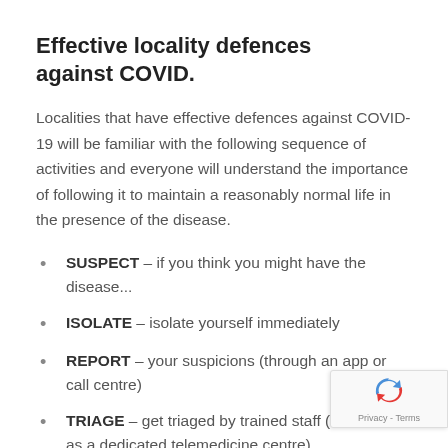Effective locality defences against COVID.
Localities that have effective defences against COVID-19 will be familiar with the following sequence of activities and everyone will understand the importance of following it to maintain a reasonably normal life in the presence of the disease.
SUSPECT – if you think you might have the disease...
ISOLATE – isolate yourself immediately
REPORT – your suspicions (through an app or call centre)
TRIAGE – get triaged by trained staff (such as a dedicated telemedicine centre)